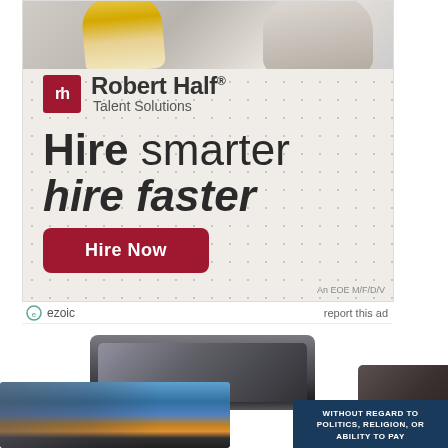[Figure (illustration): Robert Half Talent Solutions advertisement banner with hands holding something at top, logo, headline text 'Hire smarter hire faster', and a red 'Hire Now' CTA button on a speckled light background. Ezoic attribution bar at bottom.]
[Figure (photo): Partial view of a jet engine in close-up, dark metallic cylindrical form, overlapping with a photo of an airplane on a cargo tarmac with Southwest Airlines livery colors visible. A dark blue banner reads 'WITHOUT REGARD TO POLITICS, RELIGION, OR ABILITY TO PAY'.]